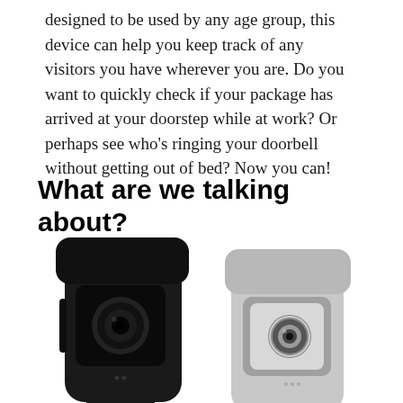designed to be used by any age group, this device can help you keep track of any visitors you have wherever you are. Do you want to quickly check if your package has arrived at your doorstep while at work? Or perhaps see who's ringing your doorbell without getting out of bed? Now you can!
What are we talking about?
[Figure (photo): Two smart doorbell cameras side by side — one black (left) and one white/gray (right), each showing a camera lens on the front face with small LED indicator dots below.]